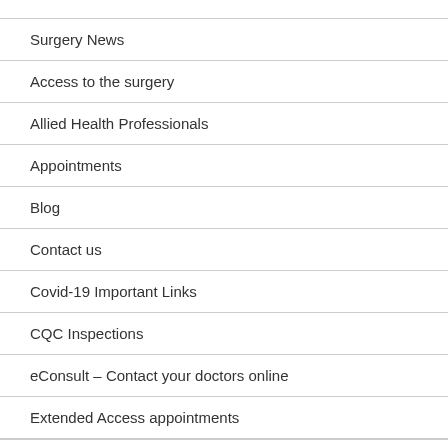Surgery News
Access to the surgery
Allied Health Professionals
Appointments
Blog
Contact us
Covid-19 Important Links
CQC Inspections
eConsult – Contact your doctors online
Extended Access appointments
Home